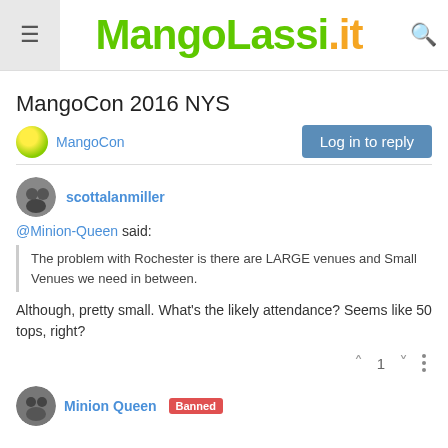MangoLassi.it
MangoCon 2016 NYS
MangoCon   Log in to reply
scottalanmiller
@Minion-Queen said:
The problem with Rochester is there are LARGE venues and Small Venues we need in between.
Although, pretty small. What's the likely attendance? Seems like 50 tops, right?
Minion Queen  Banned